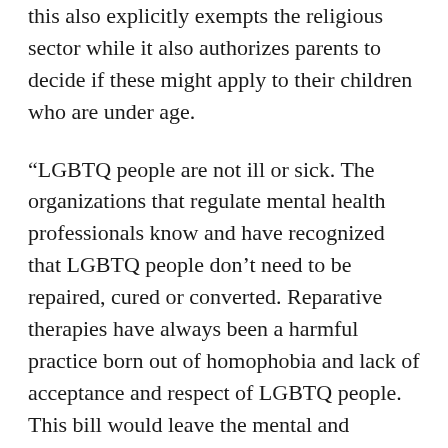this also explicitly exempts the religious sector while it also authorizes parents to decide if these might apply to their children who are under age.
“LGBTQ people are not ill or sick. The organizations that regulate mental health professionals know and have recognized that LGBTQ people don’t need to be repaired, cured or converted. Reparative therapies have always been a harmful practice born out of homophobia and lack of acceptance and respect of LGBTQ people. This bill would leave the mental and emotional health of children and youth in the hands of anyone who self proclaims to be a pastor, because it is validating as a good practice something that is really child abuse,” Burgos Pérez said.
During the past few days, multiple organizations have expressed their opposition to both bills, and in the press conference it